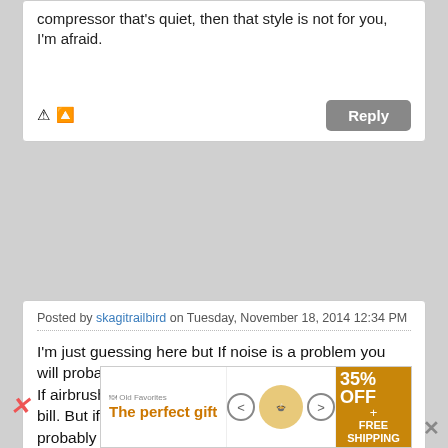compressor that's quiet, then that style is not for you, I'm afraid.
Posted by skagitrailbird on Tuesday, November 18, 2014 12:34 PM
I'm just guessing here but If noise is a problem you will probably be restricted to hobby type compressors. If airbrushing is your only need these should fill the bill. But if you have other uses in mind they will probably fall short. I use mine for many other things such as inflating tires and blowing dust off any number and type things. It can also be used to power air tools. But I couldn't operate it inside the house if anyone was sleeping, watching TV or trying to carry on a conversation. I always wear ear protection when operating it.
[Figure (infographic): Advertisement banner: The perfect gift, 35% OFF + FREE SHIPPING, with bowl of food image and navigation arrows]